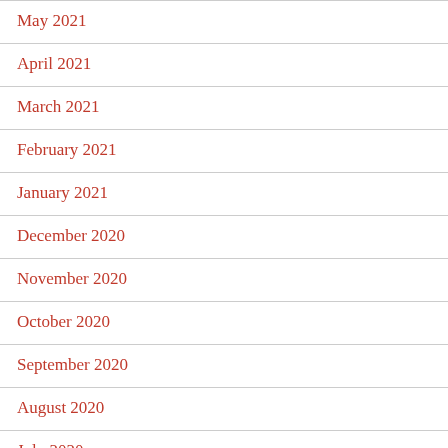May 2021
April 2021
March 2021
February 2021
January 2021
December 2020
November 2020
October 2020
September 2020
August 2020
July 2020
June 2020